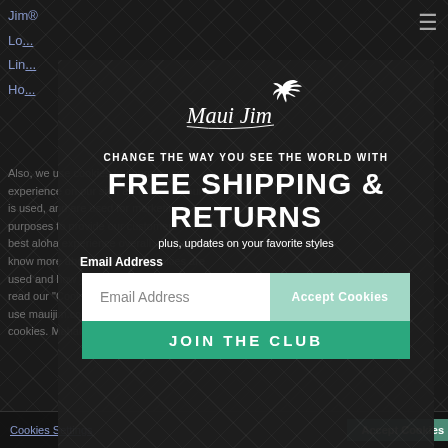Jim®
Log...
Lin...
Ho... ...
[Figure (logo): Maui Jim script logo with bird in white]
CHANGE THE WAY YOU SEE THE WORLD WITH
FREE SHIPPING & RETURNS
plus, updates on your favorite styles
Email Address
Email Address
JOIN THE CLUB
Also, we use cookies to improve your experience on our site, analyze how our site is used, and are used for marketing purposes to provide our customers with the best aloha experience overall. If you'd like to know more about how these cookies are used and how you can control them, please read our "Cookie Settings." If you continue to use mauijim.com, you consent to our use of cookies. Mahalo
Cookies Settings
Accept Cookies